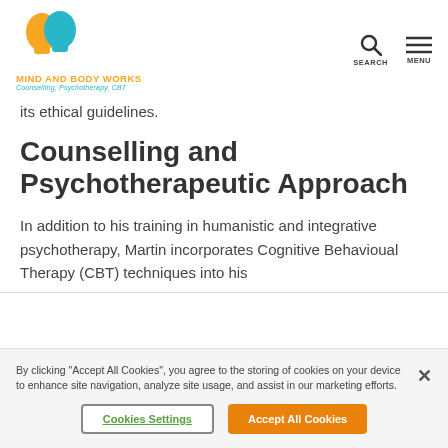MIND AND BODY WORKS — Counselling, Psychotherapy, CBT
its ethical guidelines.
Counselling and Psychotherapeutic Approach
In addition to his training in humanistic and integrative psychotherapy, Martin incorporates Cognitive Behavioual Therapy (CBT) techniques into his
By clicking “Accept All Cookies”, you agree to the storing of cookies on your device to enhance site navigation, analyze site usage, and assist in our marketing efforts.